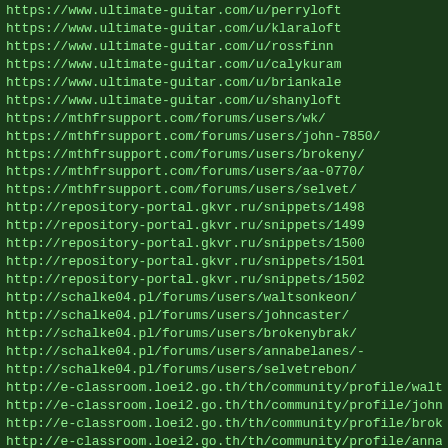https://www.ultimate-guitar.com/u/perryloft
https://www.ultimate-guitar.com/u/klaraloft
https://www.ultimate-guitar.com/u/rossfinn
https://www.ultimate-guitar.com/u/calykuram
https://www.ultimate-guitar.com/u/briankale
https://www.ultimate-guitar.com/u/shanyloft
https://mthfrsupport.com/forums/users/wk/
https://mthfrsupport.com/forums/users/john-7850/
https://mthfrsupport.com/forums/users/brokeny/
https://mthfrsupport.com/forums/users/aa-0770/
https://mthfrsupport.com/forums/users/selvet/
http://repository-portal.gkvr.ru/snippets/1498
http://repository-portal.gkvr.ru/snippets/1499
http://repository-portal.gkvr.ru/snippets/1500
http://repository-portal.gkvr.ru/snippets/1501
http://repository-portal.gkvr.ru/snippets/1502
http://schalke04.pl/forums/users/waltsonkeon/
http://schalke04.pl/forums/users/johncaster/
http://schalke04.pl/forums/users/brokenybrak/
http://schalke04.pl/forums/users/annabelanes/-
http://schalke04.pl/forums/users/selvetrebon/
http://e-classroom.loei2.go.th/th/community/profile/waltsob
http://e-classroom.loei2.go.th/th/community/profile/johncas
http://e-classroom.loei2.go.th/th/community/profile/brokeny
http://e-classroom.loei2.go.th/th/community/profile/annabel
http://e-classroom.loei2.go.th/th/community/profile/selvet/
http://www.myslimfix.com/profile/WaltsonKeon
http://www.myslimfix.com/profile/johncaster
http://www.myslimfix.com/profile/Brokeny